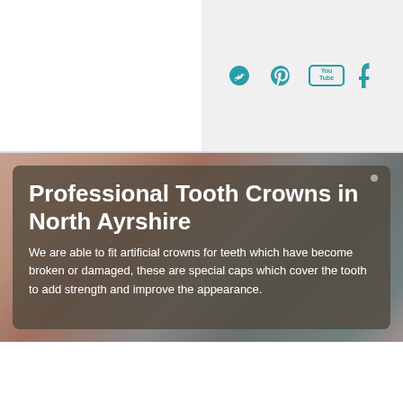[Figure (infographic): Social media icons: Twitter, Pinterest, YouTube, Tumblr in teal color on light gray background]
[Figure (photo): Person brushing teeth, shown as hero image background with semi-transparent dark overlay containing title and descriptive text]
Professional Tooth Crowns in North Ayrshire
We are able to fit artificial crowns for teeth which have become broken or damaged, these are special caps which cover the tooth to add strength and improve the appearance.